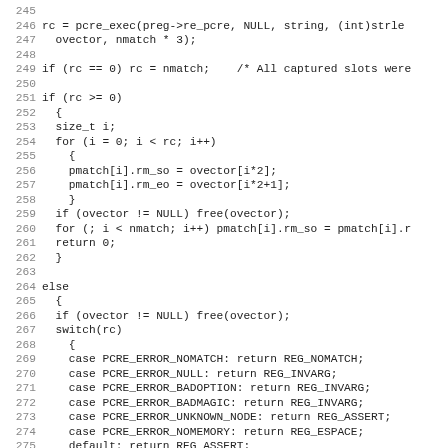[Figure (screenshot): Source code listing in monospace font showing C code lines 245–277, featuring pcre_exec call, if/else blocks, for loops, switch/case statements with PCRE error codes.]